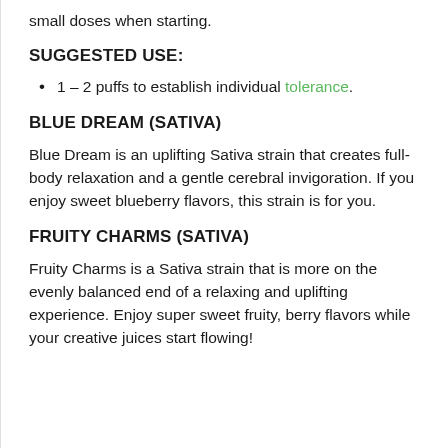small doses when starting.
SUGGESTED USE:
1 – 2 puffs to establish individual tolerance.
BLUE DREAM (SATIVA)
Blue Dream is an uplifting Sativa strain that creates full-body relaxation and a gentle cerebral invigoration. If you enjoy sweet blueberry flavors, this strain is for you.
FRUITY CHARMS (SATIVA)
Fruity Charms is a Sativa strain that is more on the evenly balanced end of a relaxing and uplifting experience. Enjoy super sweet fruity, berry flavors while your creative juices start flowing!